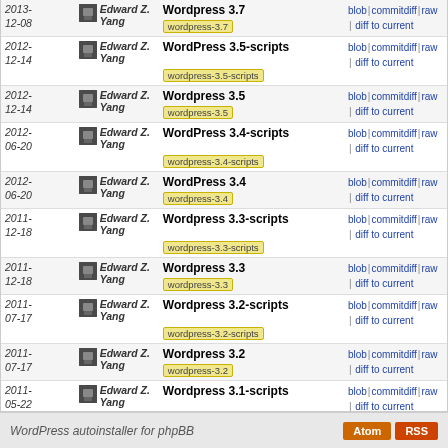| Date | Author | Tag/Version | Links |
| --- | --- | --- | --- |
| 2013-12-08 | Edward Z. Yang | Wordpress 3.7 | wordpress-3.7 | blob | commitdiff | raw | diff to current |
| 2012-12-14 | Edward Z. Yang | WordPress 3.5-scripts | wordpress-3.5-scripts | blob | commitdiff | raw | diff to current |
| 2012-12-14 | Edward Z. Yang | Wordpress 3.5 | wordpress-3.5 | blob | commitdiff | raw | diff to current |
| 2012-06-20 | Edward Z. Yang | WordPress 3.4-scripts | wordpress-3.4-scripts | blob | commitdiff | raw | diff to current |
| 2012-06-20 | Edward Z. Yang | WordPress 3.4 | wordpress-3.4 | blob | commitdiff | raw | diff to current |
| 2011-12-18 | Edward Z. Yang | Wordpress 3.3-scripts | wordpress-3.3-scripts | blob | commitdiff | raw | diff to current |
| 2011-12-18 | Edward Z. Yang | Wordpress 3.3 | wordpress-3.3 | blob | commitdiff | raw | diff to current |
| 2011-07-17 | Edward Z. Yang | Wordpress 3.2-scripts | wordpress-3.2-scripts | blob | commitdiff | raw | diff to current |
| 2011-07-17 | Edward Z. Yang | Wordpress 3.2 | wordpress-3.2 | blob | commitdiff | raw | diff to current |
| 2011-05-22 | Edward Z. Yang | Wordpress 3.1-scripts | wordpress-3.1-scripts | blob | commitdiff | raw | diff to current |
| 2011-05-22 | Edward Z. Yang | Wordpress 3.1 | wordpress-3.1 | blob | commitdiff | raw | diff to current |
WordPress autoinstaller for phpBB   Atom  RSS